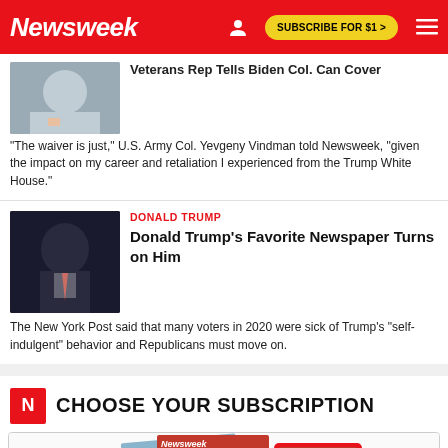Newsweek | SUBSCRIBE FOR $1 >
"The waiver is just," U.S. Army Col. Yevgeny Vindman told Newsweek, "given the impact on my career and retaliation I experienced from the Trump White House."
DONALD TRUMP
Donald Trump's Favorite Newspaper Turns on Him
The New York Post said that many voters in 2020 were sick of Trump's "self-indulgent" behavior and Republicans must move on.
CHOOSE YOUR SUBSCRIPTION
[Figure (illustration): Stack of Newsweek magazines and a tablet showing Newsweek covers including DOMSDAY issue]